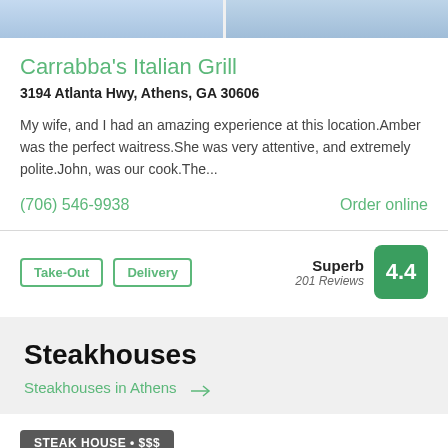[Figure (photo): Two outdoor photos side by side showing sky and utility poles]
Carrabba's Italian Grill
3194 Atlanta Hwy, Athens, GA 30606
My wife, and I had an amazing experience at this location.Amber was the perfect waitress.She was very attentive, and extremely polite.John, was our cook.The...
(706) 546-9938
Order online
Take-Out
Delivery
Superb 201 Reviews 4.4
Steakhouses
Steakhouses in Athens →
STEAK HOUSE • $$$